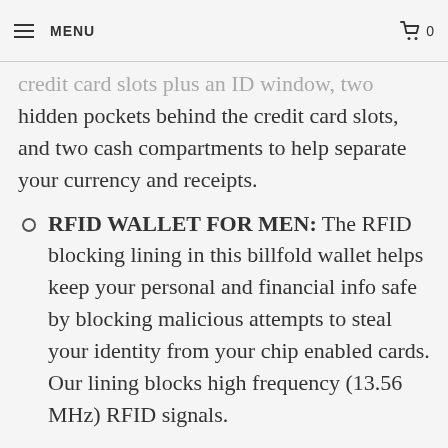MENU | 0
credit card slots plus an ID window, two hidden pockets behind the credit card slots, and two cash compartments to help separate your currency and receipts.
RFID WALLET FOR MEN: The RFID blocking lining in this billfold wallet helps keep your personal and financial info safe by blocking malicious attempts to steal your identity from your chip enabled cards. Our lining blocks high frequency (13.56 MHz) RFID signals.
A GREAT GIFT FOR MEN: This mens bifold leather wallet comes packaged in a handsome gift box with dust bag and an insert card explaining it's RFID blocking capabilities.